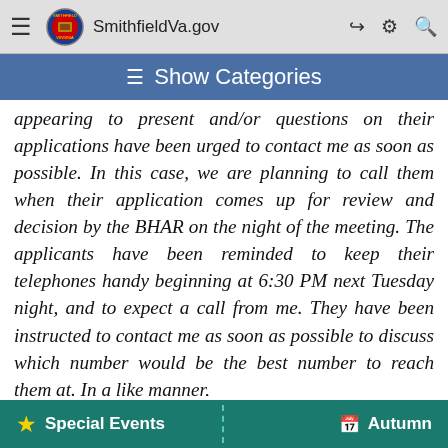SmithfieldVa.gov
≡ Show Categories
appearing to present and/or questions on their applications have been urged to contact me as soon as possible. In this case, we are planning to call them when their application comes up for review and decision by the BHAR on the night of the meeting. The applicants have been reminded to keep their telephones handy beginning at 6:30 PM next Tuesday night, and to expect a call from me. They have been instructed to contact me as soon as possible to discuss which number would be the best number to reach them at. In a like manner,
★ Special Events    Autumn